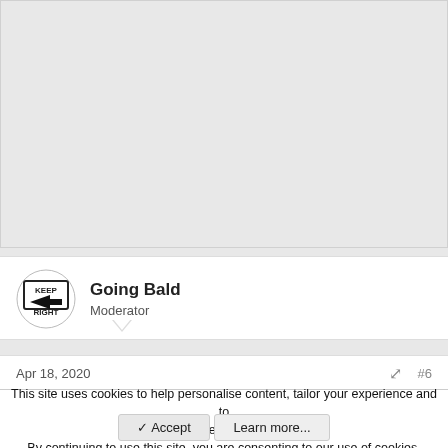[Figure (other): Gray advertisement placeholder area]
Going Bald
Moderator
Apr 18, 2020  #6
This site uses cookies to help personalise content, tailor your experience and to keep you logged in if you register.
By continuing to use this site, you are consenting to our use of cookies.
✓ Accept   Learn more...